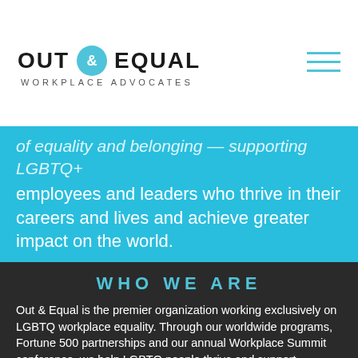OUT & EQUAL WORKPLACE ADVOCATES
of equality and belonging — supporting LGBTQ+ employees and leaders who thrive in their careers and lives and achieve greater impact on the world.
WHO WE ARE
Out & Equal is the premier organization working exclusively on LGBTQ workplace equality. Through our worldwide programs, Fortune 500 partnerships and our annual Workplace Summit conference, we help LGBTQ people thrive and support organizations creating a culture of belonging for all.